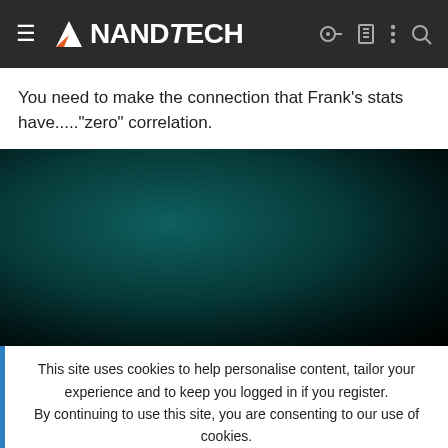AnandTech
You need to make the connection that Frank's stats have....."zero" correlation.
[Figure (photo): Dark teal/black gradient background image area, possibly a video placeholder]
This site uses cookies to help personalise content, tailor your experience and to keep you logged in if you register.
By continuing to use this site, you are consenting to our use of cookies.